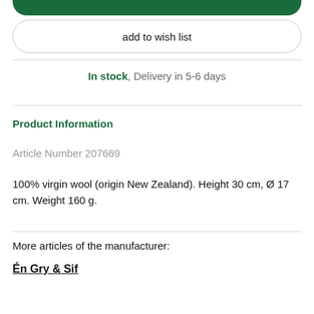add to wish list
In stock, Delivery in 5-6 days
Product Information
Article Number 207669
100% virgin wool (origin New Zealand). Height 30 cm, Ø 17 cm. Weight 160 g.
More articles of the manufacturer:
Én Gry & Sif